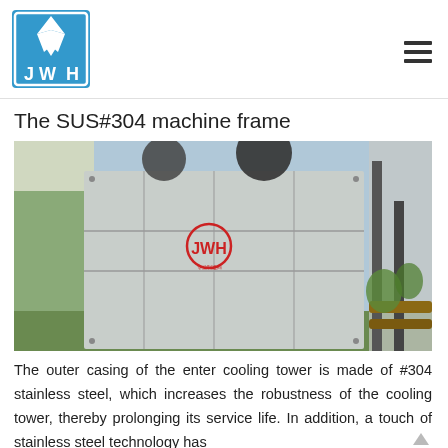[Figure (logo): JWH company logo: blue square with white diamond/arrow shapes and letters J, W, H]
The SUS#304 machine frame
[Figure (photo): Outdoor industrial cooling tower unit with stainless steel casing and red JWH logo, installed next to a building with pipes visible on the right side]
The outer casing of the enter cooling tower is made of #304 stainless steel, which increases the robustness of the cooling tower, thereby prolonging its service life. In addition, a touch of stainless steel technology has